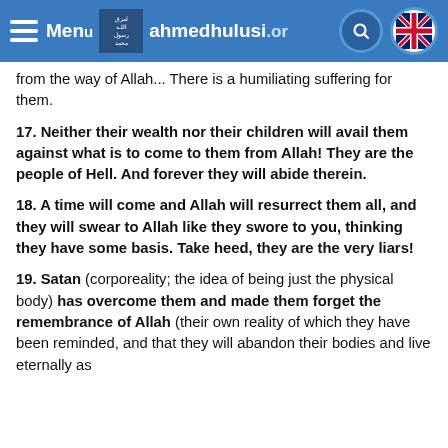Menu  ahmedhulusi.org
from the way of Allah... There is a humiliating suffering for them.
17. Neither their wealth nor their children will avail them against what is to come to them from Allah! They are the people of Hell. And forever they will abide therein.
18. A time will come and Allah will resurrect them all, and they will swear to Allah like they swore to you, thinking they have some basis. Take heed, they are the very liars!
19. Satan (corporeality; the idea of being just the physical body) has overcome them and made them forget the remembrance of Allah (their own reality of which they have been reminded, and that they will abandon their bodies and live eternally as